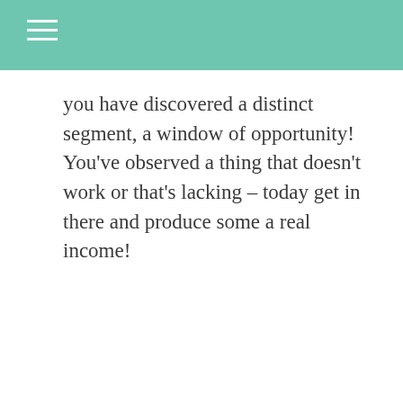you have discovered a distinct segment, a window of opportunity! You’ve observed a thing that doesn’t work or that’s lacking – today get in there and produce some a real income!
[Figure (infographic): Row of 5 social sharing icon circles: Facebook, Twitter, Pinterest, LinkedIn, Email]
[Figure (infographic): Comment author block with avatar silhouette and username RIjYqgCi]
RIjYqgCi